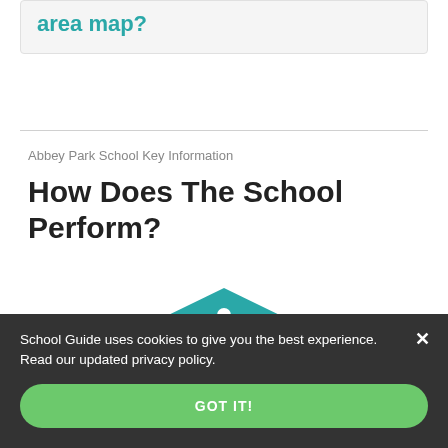area map?
Abbey Park School Key Information
How Does The School Perform?
[Figure (illustration): Teal graduation cap icon with a stylized owl face below — the School Guide mascot logo]
School Guide uses cookies to give you the best experience. Read our updated privacy policy.
GOT IT!